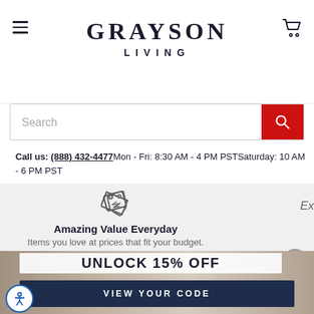GRAYSON LIVING
Search
Call us: (888) 432-4477 Mon - Fri: 8:30 AM - 4 PM PST Saturday: 10 AM - 6 PM PST
[Figure (infographic): Tag/price icon above Amazing Value Everyday text]
Amazing Value Everyday
Items you love at prices that fit your budget.
Ex
UNLOCK 15% OFF
VIEW YOUR CODE